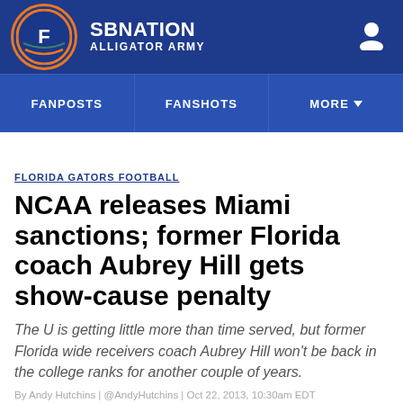SBNATION ALLIGATOR ARMY
FANPOSTS | FANSHOTS | MORE
FLORIDA GATORS FOOTBALL
NCAA releases Miami sanctions; former Florida coach Aubrey Hill gets show-cause penalty
The U is getting little more than time served, but former Florida wide receivers coach Aubrey Hill won't be back in the college ranks for another couple of years.
By Andy Hutchins | @AndyHutchins | Oct 22, 2013, 10:30am EDT